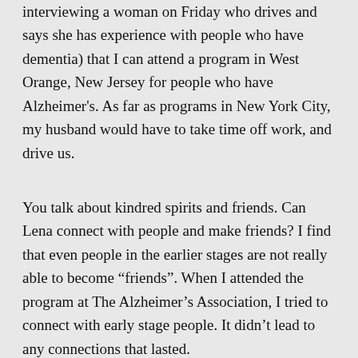interviewing a woman on Friday who drives and says she has experience with people who have dementia) that I can attend a program in West Orange, New Jersey for people who have Alzheimer's. As far as programs in New York City, my husband would have to take time off work, and drive us.
You talk about kindred spirits and friends. Can Lena connect with people and make friends? I find that even people in the earlier stages are not really able to become “friends”. When I attended the program at The Alzheimer’s Association, I tried to connect with early stage people. It didn’t lead to any connections that lasted.